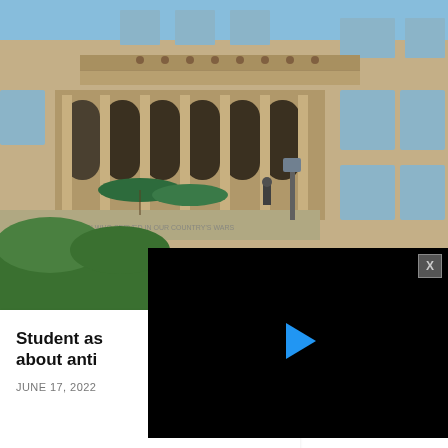[Figure (photo): Photograph of a stone neoclassical building with arched colonnaded entrance, balcony with ornamental details, large windows, green bushes in foreground, and blue sky. Stone parapet reads 'TO THE MEN WHO SERVED IN OUR COUNTRY'S WARS'. Green umbrella visible on steps.]
[Figure (screenshot): Black video player overlay with a blue play button triangle in the center and an X close button in the top-right corner.]
Student as about anti
JUNE 17, 2022